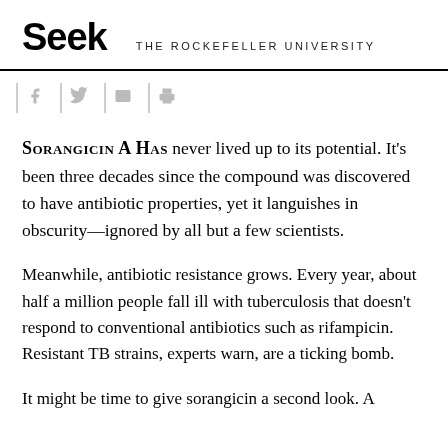Seek THE ROCKEFELLER UNIVERSITY
SORANGICIN A HAS never lived up to its potential. It's been three decades since the compound was discovered to have antibiotic properties, yet it languishes in obscurity—ignored by all but a few scientists.
Meanwhile, antibiotic resistance grows. Every year, about half a million people fall ill with tuberculosis that doesn't respond to conventional antibiotics such as rifampicin. Resistant TB strains, experts warn, are a ticking bomb.
It might be time to give sorangicin a second look. A